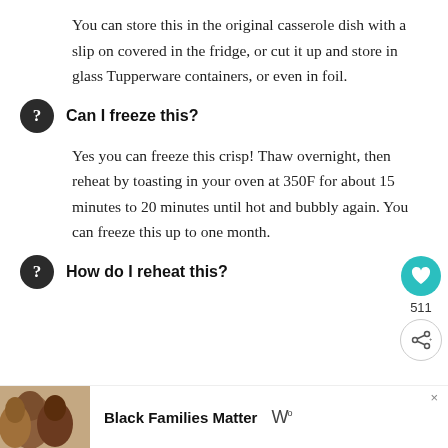You can store this in the original casserole dish with a slip on covered in the fridge, or cut it up and store in glass Tupperware containers, or even in foil.
Can I freeze this?
Yes you can freeze this crisp! Thaw overnight, then reheat by toasting in your oven at 350F for about 15 minutes to 20 minutes until hot and bubbly again. You can freeze this up to one month.
How do I reheat this?
[Figure (photo): Advertisement banner with photo of people and text 'Black Families Matter' with a media logo]